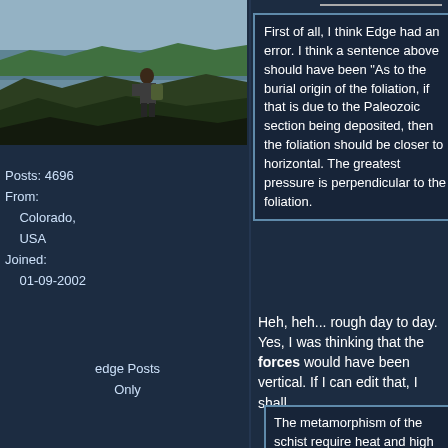[Figure (photo): Person with backpack standing on rocky cliff overlooking landscape]
Posts: 4696
From:
    Colorado,
    USA
Joined:
    01-09-2002

edge Posts
Only
First of all, I think Edge had an error. I think a sentence above should have been "As to the burial origin of the foliation, if that is due to the Paleozoic section being deposited, then the foliation should be closer to horizontal. The greatest pressure is perpendicular to the foliation.
Heh, heh... rough day to day. Yes, I was thinking that the forces would have been vertical. If I can edit that, I shall.
The metamorphism of the schist require heat and high pressure. The non-metamorphism of the overlying sediments requires the lack of heat and high pressure. The sediments were not there when the schist metamorphism happened.
Exactly. And they are close enough in space that there should be some effect on the Paleozoic section.